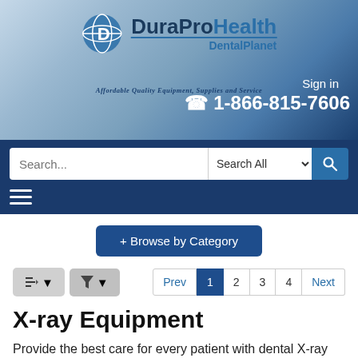[Figure (logo): DuraPro Health Dental Planet logo with globe icon and tagline 'Affordable Quality Equipment, Supplies and Service']
Sign in
1-866-815-7606
[Figure (screenshot): Search bar with 'Search...' placeholder, 'Search All' dropdown, search button, and hamburger menu icon]
[Figure (screenshot): + Browse by Category button]
[Figure (screenshot): Sort and filter buttons with pagination: Prev, 1 (active), 2, 3, 4, Next]
X-ray Equipment
Provide the best care for every patient with dental X-ray instruments and accessories from DuraPro Health. Our